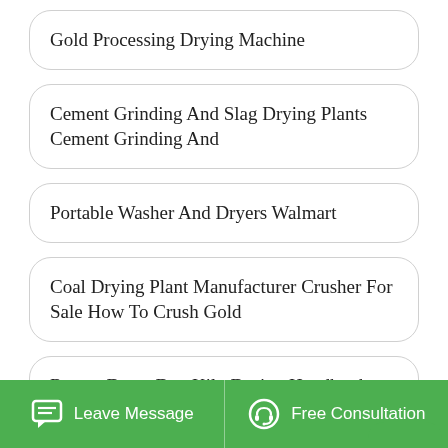Gold Processing Drying Machine
Cement Grinding And Slag Drying Plants Cement Grinding And
Portable Washer And Dryers Walmart
Coal Drying Plant Manufacturer Crusher For Sale How To Crush Gold
Rotary Dryer Dan Kiln Design Handbook
Amana Distinctions Dryer Not Heating Grinding Sale Black
De Mia inction Washer Dryer Wash...
Leave Message | Free Consultation